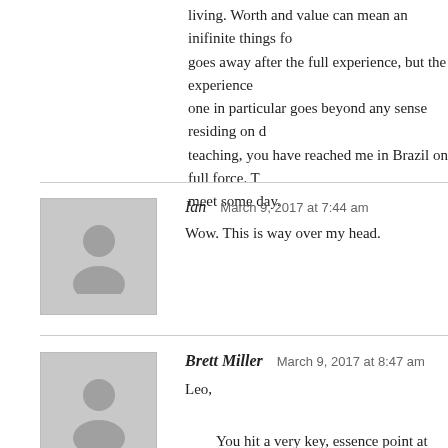living. Worth and value can mean an inifinite things for goes away after the full experience, but the experience one in particular goes beyond any sense residing on d teaching, you have reached me in Brazil on full force. T meet some day.
Ian  March 9, 2017 at 7:44 am
Wow. This is way over my head.
Brett Miller  March 9, 2017 at 8:47 am
Leo,

You hit a very key, essence point at around 23🙁0. Th literally see clearer after breaking out of the paradigm -